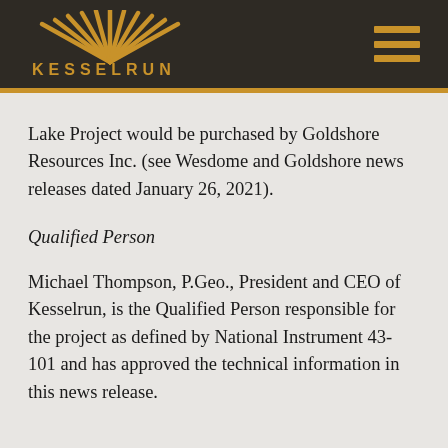[Figure (logo): Kesselrun logo: gold sunburst/fan rays above the text KESSELRUN in gold capital letters, on a dark brown background]
Lake Project would be purchased by Goldshore Resources Inc. (see Wesdome and Goldshore news releases dated January 26, 2021).
Qualified Person
Michael Thompson, P.Geo., President and CEO of Kesselrun, is the Qualified Person responsible for the project as defined by National Instrument 43-101 and has approved the technical information in this news release.